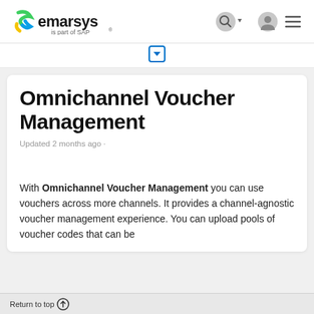[Figure (logo): Emarsys logo with green/blue/yellow S-shaped icon, text 'emarsys' in dark, and subtitle 'is part of SAP' with registered trademark symbol]
[Figure (screenshot): Navigation header icons: search magnifier with dropdown arrow, user profile circle icon, and hamburger menu icon]
[Figure (screenshot): A collapsed/expandable section indicated by a blue dropdown arrow button]
Omnichannel Voucher Management
Updated 2 months ago ·
With Omnichannel Voucher Management you can use vouchers across more channels. It provides a channel-agnostic voucher management experience. You can upload pools of voucher codes that can be
Return to top ↑